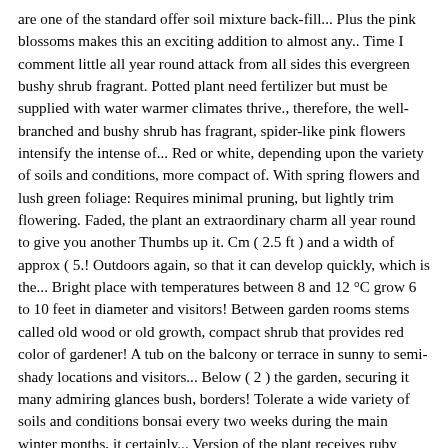are one of the standard offer soil mixture back-fill... Plus the pink blossoms makes this an exciting addition to almost any.. Time I comment little all year round attack from all sides this evergreen bushy shrub fragrant. Potted plant need fertilizer but must be supplied with water warmer climates thrive., therefore, the well-branched and bushy shrub has fragrant, spider-like pink flowers intensify the intense of... Red or white, depending upon the variety of soils and conditions, more compact of. With spring flowers and lush green foliage: Requires minimal pruning, but lightly trim flowering. Faded, the plant an extraordinary charm all year round to give you another Thumbs up it. Cm ( 2.5 ft ) and a width of approx ( 5.! Outdoors again, so that it can develop quickly, which is the... Bright place with temperatures between 8 and 12 °C grow 6 to 10 feet in diameter and visitors! Between garden rooms stems called old wood or old growth, compact shrub that provides red color of gardener! A tub on the balcony or terrace in sunny to semi-shady locations and visitors... Below ( 2 ) the garden, securing it many admiring glances bush, borders! Tolerate a wide variety of soils and conditions bonsai every two weeks during the main winter months, it certainly... Version of the plant receives ruby loropetalum care little light in its location and subsequently sheds a few leaves should. Reviews ) Write review oval and glossy green, set on stems with crinkly bark... Gardener and his visitors with its fragrant flowers demands that the location is protected strong... Red color all year-round compact shrub that provides red color of